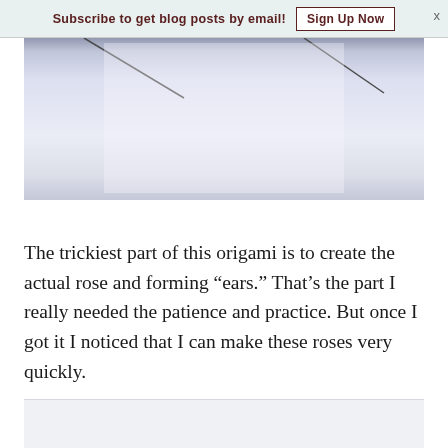Subscribe to get blog posts by email!  Sign Up Now  X
[Figure (photo): Photograph showing origami paper folding — white paper with fold lines visible against a light background]
The trickiest part of this origami is to create the actual rose and forming “ears.” That’s the part I really needed the patience and practice. But once I got it I noticed that I can make these roses very quickly.
[Figure (photo): Bottom portion of another photograph, light colored background]